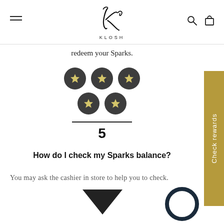[Figure (logo): KLOSH brand logo with stylized K monogram in script font above the text KLOSH]
redeem your Sparks.
[Figure (infographic): Five dark circular badges each containing a gold star arranged in a row of 3 and a row of 2, with a horizontal divider line and the number 5 below]
How do I check my Sparks balance?
You may ask the cashier in store to help you to check.